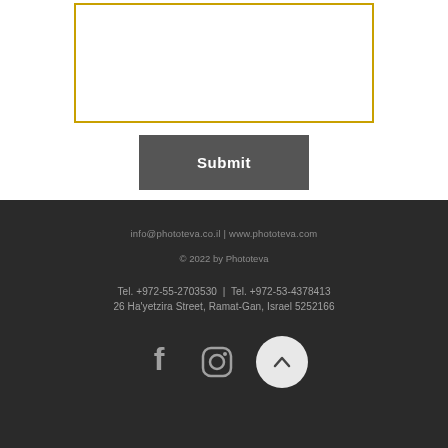[Figure (other): A text input box with gold/yellow border on white background]
Submit
info@phototeva.co.il | www.phototeva.com
© 2022 by Phototeva
Tel. +972-55-2703530 | Tel. +972-53-4378413
26 Ha'yetzira Street, Ramat-Gan, Israel 5252166